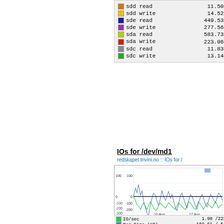| Color | Label | Value |
| --- | --- | --- |
| sdd read | 11.50m |
| sdd write | 14.52m |
| sde read | 449.53u |
| sde write | 277.56u |
| sda read | 583.73u |
| sda write | 223.06u |
| sdc read | 11.83m |
| sdc write | 13.14m |
IOs for /dev/md1
redskapet.trivini.no :: IOs for /
[Figure (continuous-plot): Time series line chart showing IOs for /dev/md1. Y-axis: Units read (-) / write (+), range -500 to 100. X-axis: time labels 16 Aug, 17 Aug. Two series: IO/sec (green) and Req Size KB (blue). Shows fluctuating read/write activity with values going down to about -400.]
IO/sec   1.90 /222
Req Size (KB)   189.61 / 54